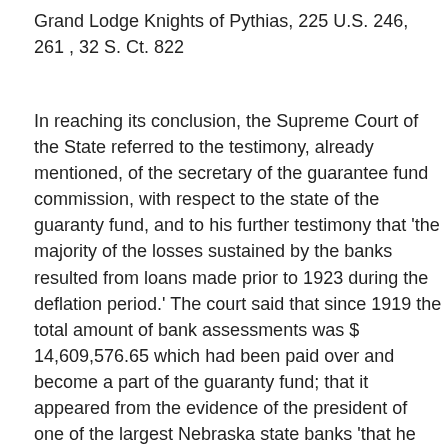Grand Lodge Knights of Pythias, 225 U.S. 246, 261 , 32 S. Ct. 822
In reaching its conclusion, the Supreme Court of the State referred to the testimony, already mentioned, of the secretary of the guarantee fund commission, with respect to the state of the guaranty fund, and to his further testimony that 'the majority of the losses sustained by the banks resulted from loans made prior to 1923 during the deflation period.' The court said that since 1919 the total amount of bank assessments was $ 14,609,576.65 which had been paid over and become a part of the guaranty fund; that it appeared from the evidence of the president of one of the largest Nebraska state banks 'that he was active in the publication of 2, 000 pamphlets which were distributed generally in respect of the establishment of the guaranty fund,' and that he 'was also chairman of a committee of three bankers by whom this suit was begun'; that in 1926 'full-page